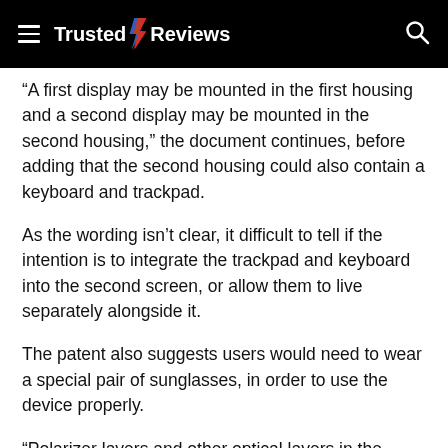Trusted Reviews
“A first display may be mounted in the first housing and a second display may be mounted in the second housing,” the document continues, before adding that the second housing could also contain a keyboard and trackpad.
As the wording isn’t clear, it difficult to tell if the intention is to integrate the trackpad and keyboard into the second screen, or allow them to live separately alongside it.
The patent also suggests users would need to wear a special pair of sunglasses, in order to use the device properly.
“Polarizer layers and other optical layers in the displays may be configured to provide a viewer with the ability to view images on the displays while wearing vertically polarized sunglasses and to suppress reflections of light emitted by the first display off of the second display,” reads